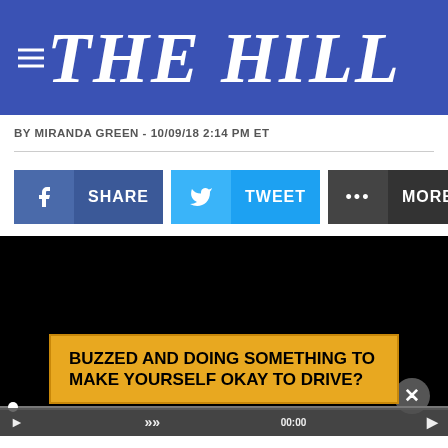THE HILL
BY MIRANDA GREEN - 10/09/18 2:14 PM ET
[Figure (screenshot): Social share buttons: Facebook SHARE, Twitter TWEET, and MORE options]
[Figure (screenshot): Black video player area with a yellow overlay banner reading: BUZZED AND DOING SOMETHING TO MAKE YOURSELF OKAY TO DRIVE?]